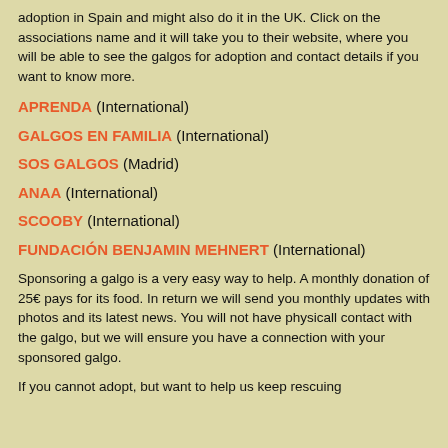adoption in Spain and might also do it in the UK. Click on the associations name and it will take you to their website, where you will be able to see the galgos for adoption and contact details if you want to know more.
APRENDA (International)
GALGOS EN FAMILIA (International)
SOS GALGOS (Madrid)
ANAA (International)
SCOOBY (International)
FUNDACIÓN BENJAMIN MEHNERT (International)
Sponsoring a galgo is a very easy way to help. A monthly donation of 25€ pays for its food. In return we will send you monthly updates with photos and its latest news. You will not have physicall contact with the galgo, but we will ensure you have a connection with your sponsored galgo.
If you cannot adopt, but want to help us keep rescuing